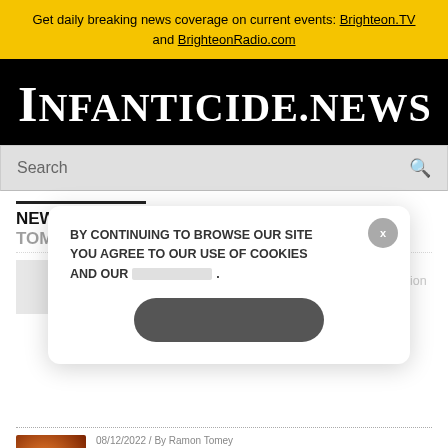Get daily breaking news coverage on current events: Brighteon.TV and BrighteonRadio.com
INFANTICIDE.NEWS
Search
NEWS & ARTICLES BY RAMON TOMEY
BY CONTINUING TO BROWSE OUR SITE YOU AGREE TO OUR USE OF COOKIES AND OUR .
Planned ... ng on $50M budget to rally pro-abortion voters
08/12/2022 / By Ramon Tomey
India holds first March for Life, commemorating almost 800 million victims